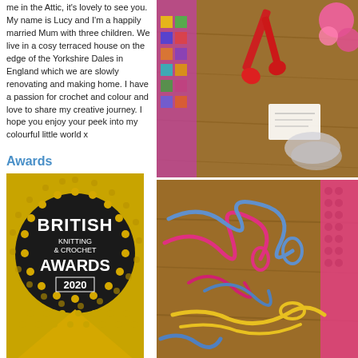Thank you so much for visiting me in the Attic, it's lovely to see you. My name is Lucy and I'm a happily married Mum with three children. We live in a cosy terraced house on the edge of the Yorkshire Dales in England which we are slowly renovating and making home. I have a passion for crochet and colour and love to share my creative journey. I hope you enjoy your peek into my colourful little world x
Awards
[Figure (logo): British Knitting & Crochet Awards 2020 badge — circular dark badge with gold dot border pattern and gold triangle at bottom, text reads BRITISH KNITTING & CROCHET AWARDS 2020]
[Figure (photo): Top-down photo of craft supplies on a wooden surface: red scissors, colourful crochet/granny square fabric on left, pink yarn balls on right, and a small white card/label]
[Figure (photo): Top-down photo of tangled colourful yarn strands (yellow, pink, blue) on a wooden surface, with a pink crocheted item on the right edge]